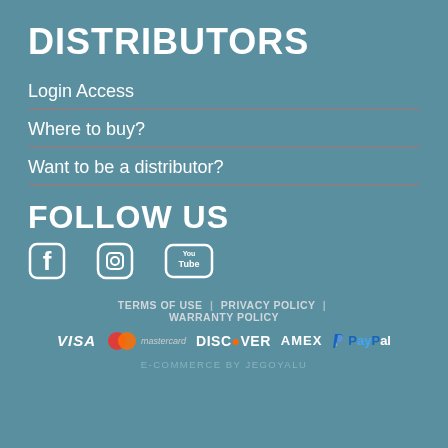DISTRIBUTORS
Login Access
Where to buy?
Want to be a distributor?
FOLLOW US
[Figure (illustration): Social media icons: Facebook, Instagram, YouTube]
TERMS OF USE | PRIVACY POLICY | WARRANTY POLICY
[Figure (illustration): Payment logos: VISA, mastercard, DISCOVER, AMEX, PayPal]
E-COMMERCE BY JEGOYALU